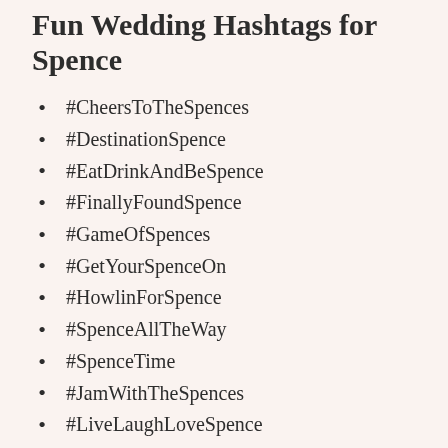Fun Wedding Hashtags for Spence
#CheersToTheSpences
#DestinationSpence
#EatDrinkAndBeSpence
#FinallyFoundSpence
#GameOfSpences
#GetYourSpenceOn
#HowlinForSpence
#SpenceAllTheWay
#SpenceTime
#JamWithTheSpences
#LiveLaughLoveSpence
#OperationSpence
#PartyLikeSpence